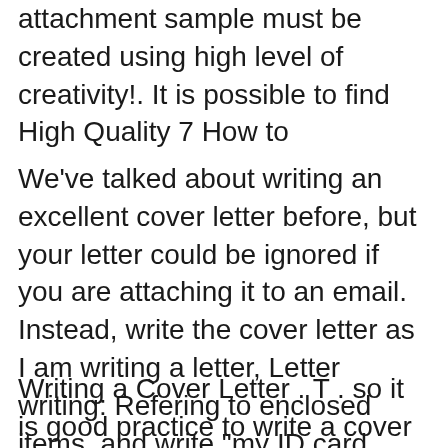attachment sample must be created using high level of creativity!. It is possible to find High Quality 7 How to
We've talked about writing an excellent cover letter before, but your letter could be ignored if you are attaching it to an email. Instead, write the cover letter as I am writing a letter, Letter writing: Refering to enclosed items. and write "my ID card (attachment 1)" or "my ID card
Writing a Cover Letter . T . so it is good practice to write a cover letter for – think about sending attachments to an online application as a PDF to We've talked about writing an excellent cover